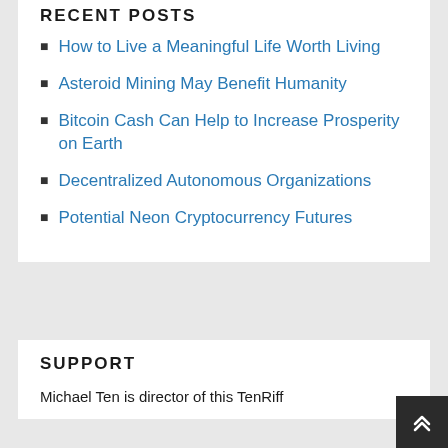RECENT POSTS
How to Live a Meaningful Life Worth Living
Asteroid Mining May Benefit Humanity
Bitcoin Cash Can Help to Increase Prosperity on Earth
Decentralized Autonomous Organizations
Potential Neon Cryptocurrency Futures
SUPPORT
Michael Ten is director of this TenRiff